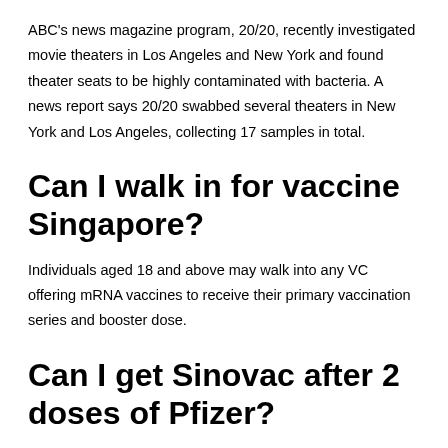ABC's news magazine program, 20/20, recently investigated movie theaters in Los Angeles and New York and found theater seats to be highly contaminated with bacteria. A news report says 20/20 swabbed several theaters in New York and Los Angeles, collecting 17 samples in total.
Can I walk in for vaccine Singapore?
Individuals aged 18 and above may walk into any VC offering mRNA vaccines to receive their primary vaccination series and booster dose.
Can I get Sinovac after 2 doses of Pfizer?
A: Persons who had received two or more doses of the Sinovac-CoronaVac* COVID-19 vaccines as part of a three-dose primary vaccination series may use an mRNA vaccine (either the